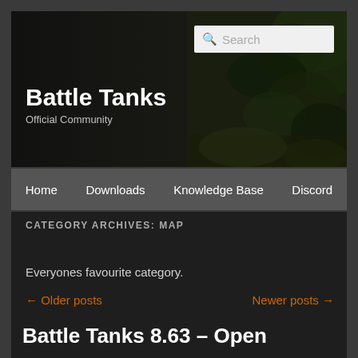[Figure (screenshot): Website header with dark background, foliage texture on right side, and a search box in the top right corner]
Battle Tanks
Official Community
Home   Downloads   Knowledge Base   Discord
CATEGORY ARCHIVES: MAP
Everyones favourite category.
← Older posts   Newer posts →
Battle Tanks 8.63 – Open